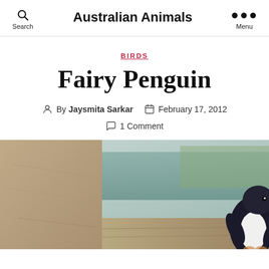Australian Animals
BIRDS
Fairy Penguin
By Jaysmita Sarkar  February 17, 2012
1 Comment
[Figure (photo): A small fairy penguin (little penguin) standing near a rock wall and wooden surface, with water visible in the background.]